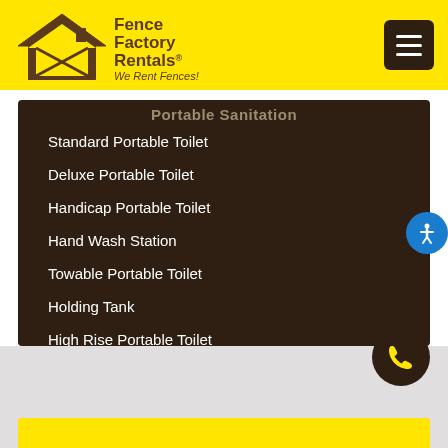[Figure (logo): Fence Factory Rentals logo with house icon and text 'Fence Factory Rentals - We Rent Fences!']
Standard Portable Toilet
Deluxe Portable Toilet
Handicap Portable Toilet
Hand Wash Station
Towable Portable Toilet
Holding Tank
High Rise Portable Toilet
Hoistable Portable Toilet